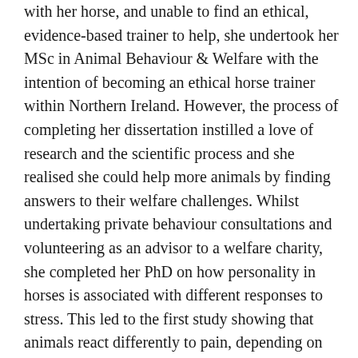with her horse, and unable to find an ethical, evidence-based trainer to help, she undertook her MSc in Animal Behaviour & Welfare with the intention of becoming an ethical horse trainer within Northern Ireland. However, the process of completing her dissertation instilled a love of research and the scientific process and she realised she could help more animals by finding answers to their welfare challenges. Whilst undertaking private behaviour consultations and volunteering as an advisor to a welfare charity, she completed her PhD on how personality in horses is associated with different responses to stress. This led to the first study showing that animals react differently to pain, depending on their personality. In addition, she also explored how personality might explain whether or not an animal becomes stereotypic when their welfare needs are not met. Following PhD study, Dr Ijichi contributed to a large scale study on chicken production and welfare before taking up a position as Senior Lecturer at